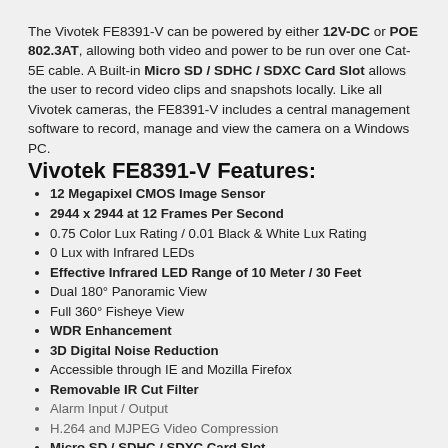The Vivotek FE8391-V can be powered by either 12V-DC or POE 802.3AT, allowing both video and power to be run over one Cat-5E cable. A Built-in Micro SD / SDHC / SDXC Card Slot allows the user to record video clips and snapshots locally. Like all Vivotek cameras, the FE8391-V includes a central management software to record, manage and view the camera on a Windows PC.
Vivotek FE8391-V Features:
12 Megapixel CMOS Image Sensor
2944 x 2944 at 12 Frames Per Second
0.75 Color Lux Rating / 0.01 Black & White Lux Rating
0 Lux with Infrared LEDs
Effective Infrared LED Range of 10 Meter / 30 Feet
Dual 180° Panoramic View
Full 360° Fisheye View
WDR Enhancement
3D Digital Noise Reduction
Accessible through IE and Mozilla Firefox
Removable IR Cut Filter
Alarm Input / Output
H.264 and MJPEG Video Compression
Micro SD / SDHC / SDXC Card Slot
Built-in Microphone with 5 Meter / 15 Foot Range
POE 802.3AT Compliant
12V-DC